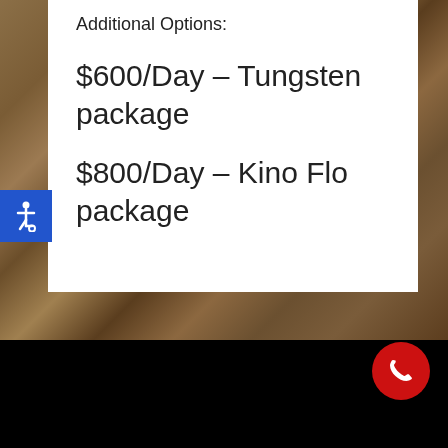[Figure (photo): Interior room background with wood floor, partially visible furniture and marble surface]
Additional Options:
$600/Day – Tungsten package
$800/Day – Kino Flo package
[Figure (infographic): Blue square with white wheelchair accessibility icon]
[Figure (infographic): Red circle with white phone handset icon at bottom-right corner]